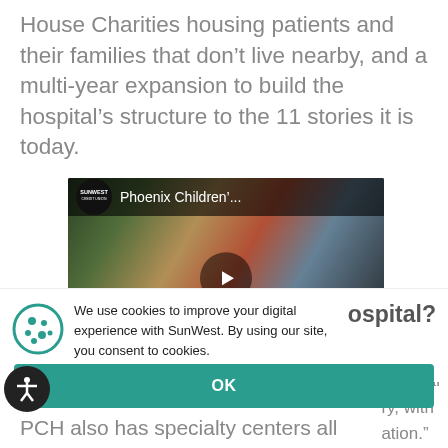House Charities housing patients and their families that don’t live nearby, and a multi-year expansion to build the hospital’s structure to the 11 stories it is today.
[Figure (screenshot): Embedded video thumbnail showing SunWest Credit Union logo and title 'Phoenix Children'... with a play button overlay on a colorful background image.]
We use cookies to improve your digital experience with SunWest. By using our site, you consent to cookies.
Learn more
OK
ospital?
hospital
ry, with
ation.”
PCH also has specialty centers all